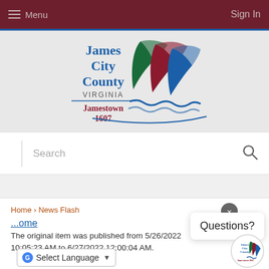Menu   Sign In
[Figure (logo): James City County Virginia Jamestown 1607 logo with three sail shapes in green, red, and blue with wave at bottom]
Search
Home › News Flash
Questions?
...ome
The original item was published from 5/26/2022 10:05:23 AM to 6/27/2022 12:00:04 AM.
Select Language